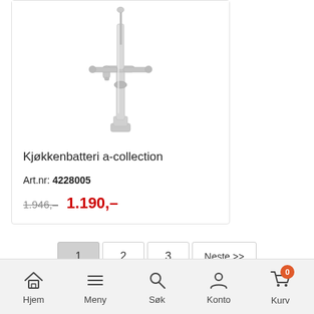[Figure (photo): Chrome kitchen faucet with two lever handles on a white background]
Kjøkkenbatteri a-collection
Art.nr: 4228005
1.946,- 1.190,-
1 2 3 Neste >>
Hjem Meny Søk Konto Kurv 0